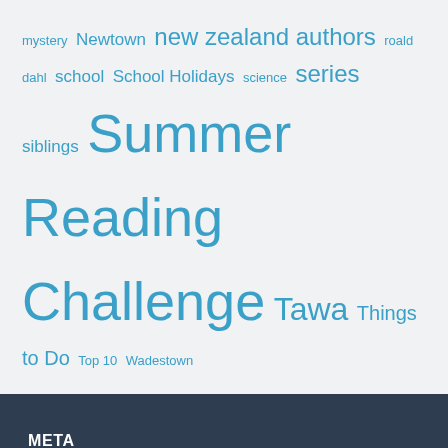mystery Newtown new zealand authors roald dahl school School Holidays science series siblings Summer Reading Challenge Tawa Things to Do Top 10 Wadestown
META
Log in
Entries feed
Comments feed
WordPress.org
© 2022 Kids Blog. All rights reserved. Flato by ThemeMeme